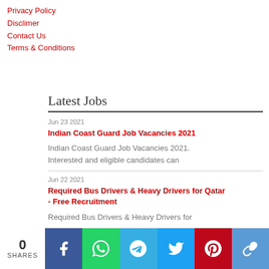Privacy Policy
Disclimer
Contact Us
Terms & Conditions
Latest Jobs
Jun 23 2021
Indian Coast Guard Job Vacancies 2021
Indian Coast Guard Job Vacancies 2021. Interested and eligible candidates can
Jun 22 2021
Required Bus Drivers & Heavy Drivers for Qatar - Free Recruitment
Required Bus Drivers & Heavy Drivers for
0 SHARES | Facebook | WhatsApp | Telegram | Twitter | Pinterest | Copy Link